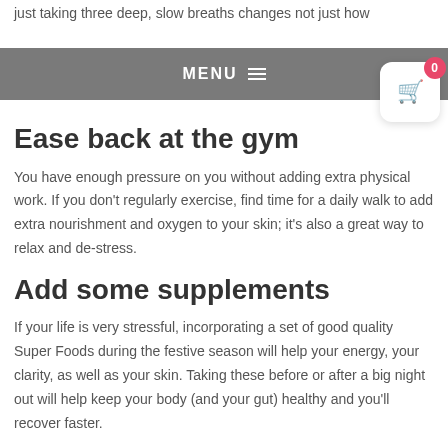just taking three deep, slow breaths changes not just how
MENU
Ease back at the gym
You have enough pressure on you without adding extra physical work. If you don't regularly exercise, find time for a daily walk to add extra nourishment and oxygen to your skin; it's also a great way to relax and de-stress.
Add some supplements
If your life is very stressful, incorporating a set of good quality Super Foods during the festive season will help your energy, your clarity, as well as your skin. Taking these before or after a big night out will help keep your body (and your gut) healthy and you'll recover faster.
Eat well